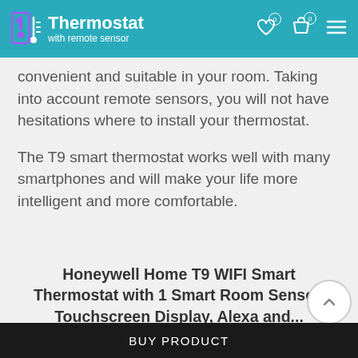Thermostat with remote sensor
convenient and suitable in your room. Taking into account remote sensors, you will not have hesitations where to install your thermostat.
The T9 smart thermostat works well with many smartphones and will make your life more intelligent and more comfortable.
Honeywell Home T9 WIFI Smart Thermostat with 1 Smart Room Sensor, Touchscreen Display, Alexa and...
BUY PRODUCT